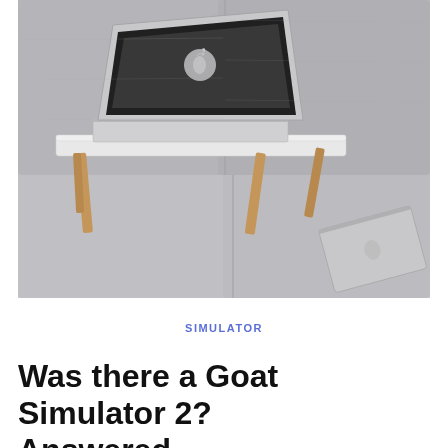[Figure (photo): A MacBook laptop open on a white wooden folding lap desk/tray table sitting on a grey fabric sofa. A second laptop (closed, silver) is resting on the sofa cushion beside the table. The lap desk has four wooden bamboo-colored legs.]
SIMULATOR
Was there a Goat Simulator 2? Answered